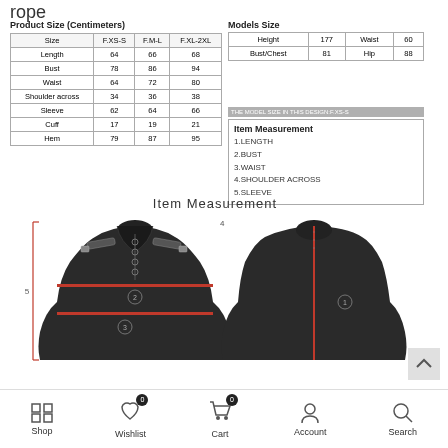rope
| Size | F.XS-S | F.M-L | F.XL-2XL |
| --- | --- | --- | --- |
| Length | 64 | 66 | 68 |
| Bust | 78 | 86 | 94 |
| Waist | 64 | 72 | 80 |
| Shoulder across | 34 | 36 | 38 |
| Sleeve | 62 | 64 | 66 |
| Cuff | 17 | 19 | 21 |
| Hem | 79 | 87 | 95 |
Product Size (Centimeters)
| Height | 177 | Waist | 60 |
| --- | --- | --- | --- |
| Bust/Chest | 81 | Hip | 88 |
Models Size
THE MODEL SIZE IN THIS DESIGN:F.XS-S
Item  Measurement
1.LENGTH
2.BUST
3.WAIST
4.SHOULDER ACROSS
5.SLEEVE
Item  Measurement
[Figure (illustration): Front and back view of a black long-sleeve jacket with measurement annotations showing numbered measurement points and red lines indicating length, bust, waist positions]
Shop  Wishlist  Cart  Account  Search